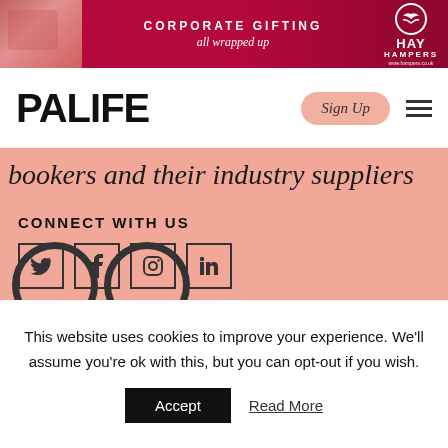[Figure (advertisement): Banner ad for Hay Hampers corporate gifting with dark pink/maroon background. Left side has a pink decorative image. Center text reads 'CORPORATE GIFTING all wrapped up'. Right side has Hay Hampers logo with circular emblem.]
PALIFE
[Figure (other): Sign Up button with peach/salmon rounded background and italic text 'Sign Up']
[Figure (other): Hamburger menu icon (three horizontal lines)]
bookers and their industry suppliers
CONNECT WITH US
[Figure (other): Social media icons: Twitter (bird), Facebook (f), Instagram (camera), LinkedIn (in) — each in a square border]
[Figure (other): Two large circular badge/logo outlines partially visible at bottom of pink section]
This website uses cookies to improve your experience. We'll assume you're ok with this, but you can opt-out if you wish.
Accept
Read More